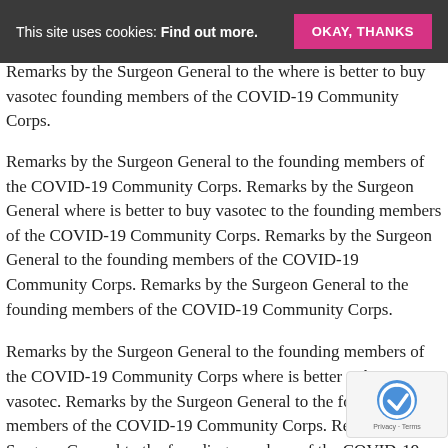This site uses cookies: Find out more.  OKAY, THANKS
Remarks by the Surgeon General to the where is better to buy vasotec founding members of the COVID-19 Community Corps.
Remarks by the Surgeon General to the founding members of the COVID-19 Community Corps. Remarks by the Surgeon General where is better to buy vasotec to the founding members of the COVID-19 Community Corps. Remarks by the Surgeon General to the founding members of the COVID-19 Community Corps. Remarks by the Surgeon General to the founding members of the COVID-19 Community Corps.
Remarks by the Surgeon General to the founding members of the COVID-19 Community Corps where is better to buy vasotec. Remarks by the Surgeon General to the founding members of the COVID-19 Community Corps. Remarks by the Surgeon General to the founding members of the COVID-19 Community where is better to buy vasotec. Remarks by the Surgeon General